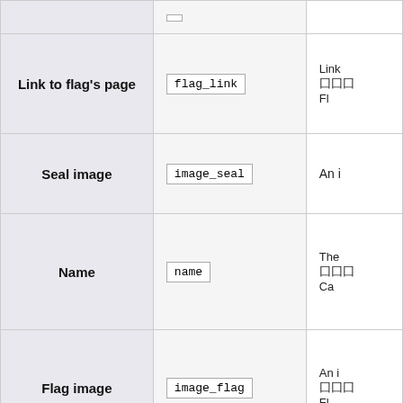| Label | Code/Field | Description |
| --- | --- | --- |
| Link to flag's page | flag_link | Link
囲囲
Fl |
| Seal image | image_seal | An i |
| Name | name | The
囲囲
Ca |
| Flag image | image_flag | An i
囲囲
Fl |
| Flag alternate text | flag_alt | 囲囲囲囲囲 |